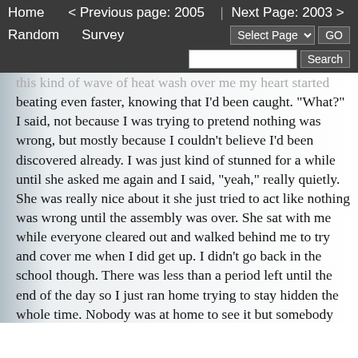Home   < Previous page: 2005  |  Next Page: 2003 >   Random   Survey   Select Page  GO   Search
this kind of wave of heat wash over me my heart started beating even faster, knowing that I'd been caught. "What?" I said, not because I was trying to pretend nothing was wrong, but mostly because I couldn't believe I'd been discovered already. I was just kind of stunned for a while until she asked me again and I said, "yeah," really quietly. She was really nice about it she just tried to act like nothing was wrong until the assembly was over. She sat with me while everyone cleared out and walked behind me to try and cover me when I did get up. I didn't go back in the school though. There was less than a period left until the end of the day so I just ran home trying to stay hidden the whole time. Nobody was at home to see it but somebody else must've noticed at school because I heard the odd comment around school the next few days about me having accident but luckily I didn't hear about it for very long.

That was one of the more embarrassing incidents but I've had worse. Anyone else have lapses in judgment like that as a kid? I'd say I was a pretty smart kid other than that